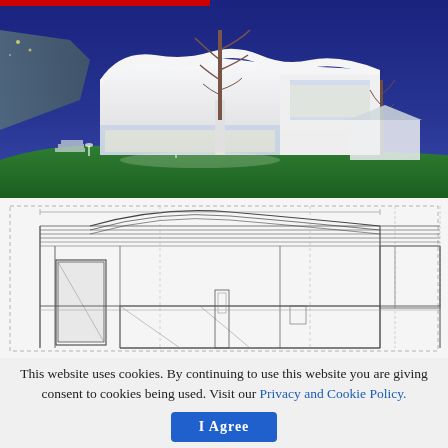[Figure (photo): Twilight photograph of a modern white architectural building with glass walls and undulating roof, set into a hillside with green grass, illuminated trees, and blue evening sky]
[Figure (engineering-diagram): Architectural blueprint/technical drawing showing a cross-section or elevation plan of a building with roof structure, doors, and interior layout in black and white line art]
This website uses cookies. By continuing to use this website you are giving consent to cookies being used. Visit our Privacy and Cookie Policy.
I Agree